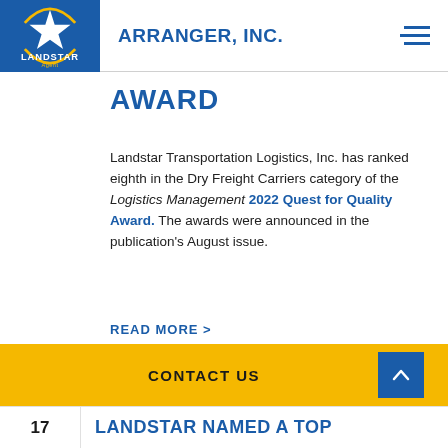ARRANGER, INC.
AWARD
Landstar Transportation Logistics, Inc. has ranked eighth in the Dry Freight Carriers category of the Logistics Management 2022 Quest for Quality Award. The awards were announced in the publication's August issue.
READ MORE >
CONTACT US
17 LANDSTAR NAMED A TOP